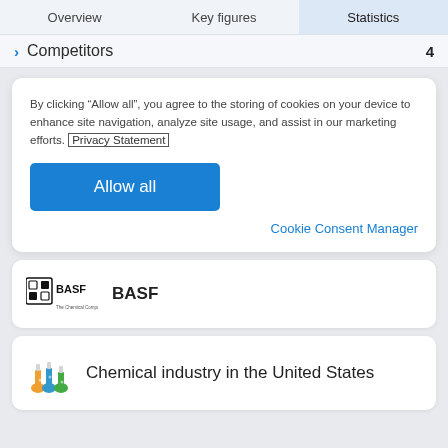Overview  Key figures  Statistics
> Competitors  4
By clicking “Allow all”, you agree to the storing of cookies on your device to enhance site navigation, analyze site usage, and assist in our marketing efforts. Privacy Statement
Allow all
Cookie Consent Manager
[Figure (logo): BASF logo with square icon and text 'The Chemical Company']
BASF
[Figure (illustration): Colorful chemical beakers/flasks icon]
Chemical industry in the United States